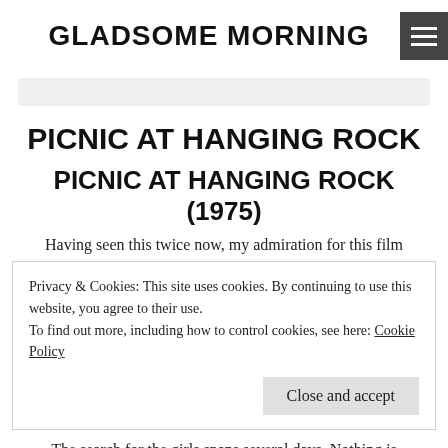GLADSOME MORNING
PICNIC AT HANGING ROCK
PICNIC AT HANGING ROCK (1975)
Having seen this twice now, my admiration for this film
Privacy & Cookies: This site uses cookies. By continuing to use this website, you agree to their use.
To find out more, including how to control cookies, see here: Cookie Policy
The search for the girls spans several days. Nothing is